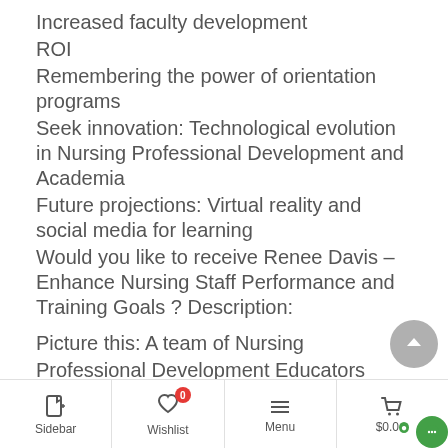Increased faculty development
ROI
Remembering the power of orientation programs
Seek innovation: Technological evolution in Nursing Professional Development and Academia
Future projections: Virtual reality and social media for learning
Would you like to receive Renee Davis – Enhance Nursing Staff Performance and Training Goals ? Description:
Picture this: A team of Nursing Professional Development Educators having to orient 50-100 new hire professional clinicians and support staff on a weekly basis, over 3-4, 7.5-hour days, with predominantly lecture-based or excessively long eLearning content.
Sidebar | Wishlist 0 | Menu | $0.00